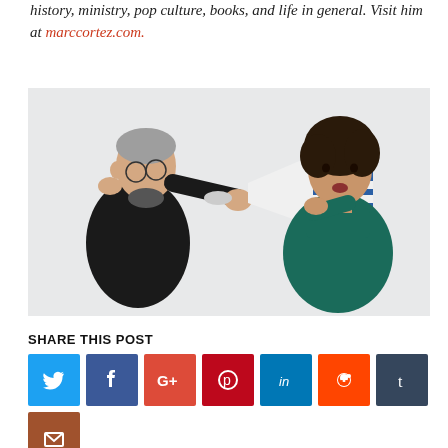history, ministry, pop culture, books, and life in general. Visit him at marccortez.com.
[Figure (photo): Two people facing each other: an older man in a black jacket leaning back covering his ear, and a woman in a teal turtleneck holding a megaphone pointed at the man, on a white background.]
SHARE THIS POST
[Figure (infographic): Row of social media sharing buttons: Twitter (blue bird), Facebook (dark blue f), Google+ (red G+), Pinterest (red circle P), LinkedIn (blue in), Reddit (orange alien), Tumblr (dark blue t), and Email (brown envelope).]